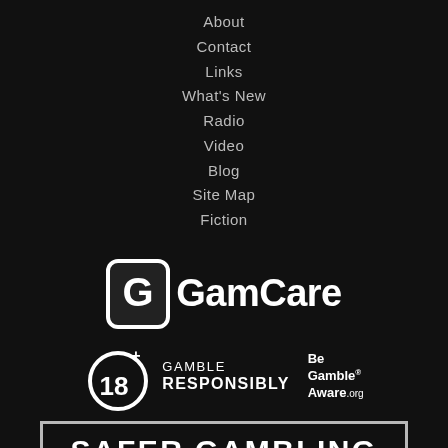About
Contact
Links
What's New
Radio
Video
Blog
Site Map
Fiction
[Figure (logo): GamCare logo with stylized G icon and GamCare text in white on dark background]
[Figure (logo): 18+ Gamble Responsibly badge with circular 18+ icon and Be Gamble Aware.org text]
[Figure (logo): Safer Gambling stamp/badge in white text with border on dark background]